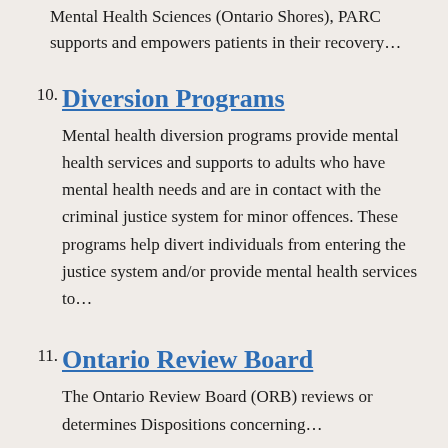Mental Health Sciences (Ontario Shores), PARC supports and empowers patients in their recovery…
10. Diversion Programs

Mental health diversion programs provide mental health services and supports to adults who have mental health needs and are in contact with the criminal justice system for minor offences. These programs help divert individuals from entering the justice system and/or provide mental health services to…
11. Ontario Review Board

The Ontario Review Board (ORB) reviews or determines Dispositions concerning…